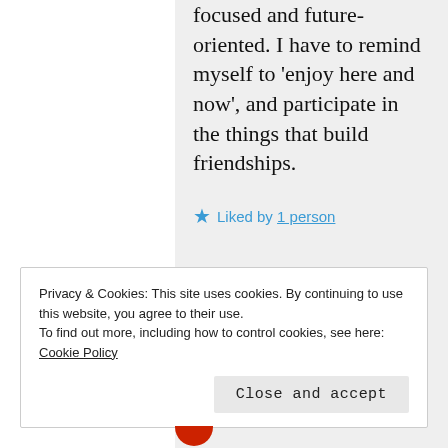focused and future-oriented. I have to remind myself to 'enjoy here and now', and participate in the things that build friendships.
★ Liked by 1 person
Privacy & Cookies: This site uses cookies. By continuing to use this website, you agree to their use.
To find out more, including how to control cookies, see here: Cookie Policy
Close and accept